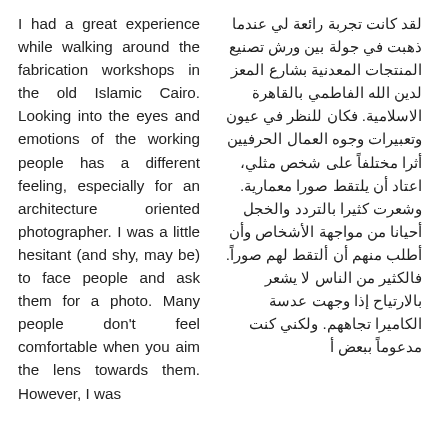I had a great experience while walking around the fabrication workshops in the old Islamic Cairo. Looking into the eyes and emotions of the working people has a different feeling, especially for an architecture oriented photographer. I was a little hesitant (and shy, may be) to face people and ask them for a photo. Many people don't feel comfortable when you aim the lens towards them. However, I was
لقد كانت تجربة رائعة لي عندما ذهبت في جولة بين ورش تصنيع المنتجات المعدنية بشارع المعز لدين الله الفاطمي بالقاهرة الاسلامية. فكان للنظر في عيون وتعبيرات وجوه العمال الحرفيين أثرا مختلفاً على شخص مثلي، اعتاد أن يلتقط صورا معمارية. وشعرت كثيرا بالتردد والخجل أحيانا من مواجهة الأشخاص وأن أطلب منهم أن ألتقط لهم صوراً. فالكثير من الناس لا يشعر بالارتياح إذا وجهت عدسة الكاميرا تجاههم. ولكني كنت مدعوماً ببعض أ